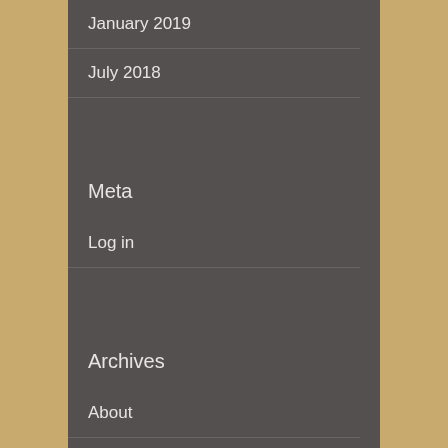January 2019
July 2018
Meta
Log in
Archives
About
Advertising Partners
Contact
Newsletter